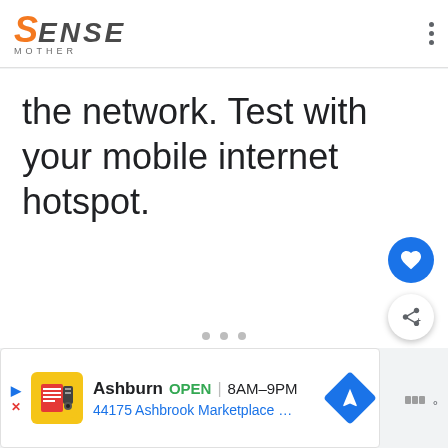SENSE MOTHER
the network. Test with your mobile internet hotspot.
[Figure (screenshot): Advertisement banner: Ashburn OPEN 8AM-9PM, 44175 Ashbrook Marketplace ...]